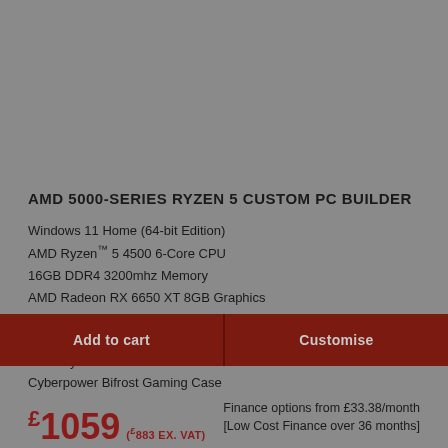AMD 5000-SERIES RYZEN 5 CUSTOM PC BUILDER
Windows 11 Home (64-bit Edition)
AMD Ryzen™ 5 4500 6-Core CPU
16GB DDR4 3200mhz Memory
AMD Radeon RX 6650 XT 8GB Graphics
MSI B550-A Pro ATX Motherboard
500GB Kingston NV1 M.2 NVMe PCle SSD
AMD Ryzen Wraith CPU Cooler
Cyberpower Bifrost Gaming Case
£1059 (£883 EX. VAT)
Add to cart
Customise
Finance options from £33.38/month
[Low Cost Finance over 36 months]